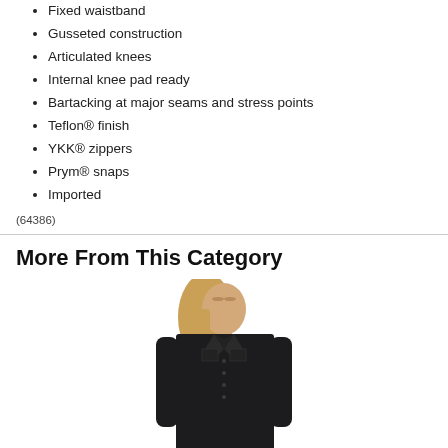Fixed waistband
Gusseted construction
Articulated knees
Internal knee pad ready
Bartacking at major seams and stress points
Teflon® finish
YKK® zippers
Prym® snaps
Imported
(64386)
More From This Category
[Figure (photo): Woman wearing a black long-sleeve button-up shirt/jacket, blonde hair, photographed from the waist up against a white background]